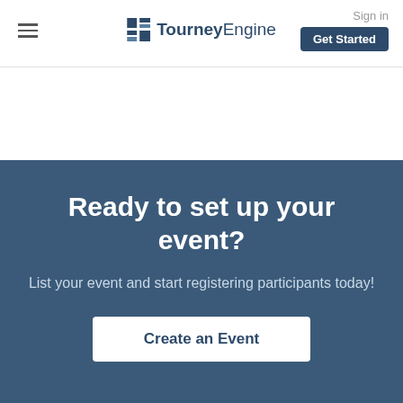≡  TourneyEngine   Sign in   Get Started
Ready to set up your event?
List your event and start registering participants today!
Create an Event